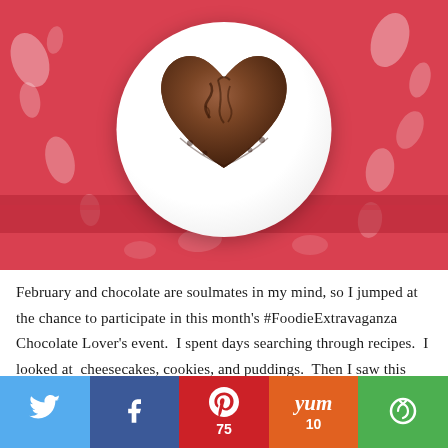[Figure (photo): A heart-shaped chocolate brownie on a round white plate, placed on a red and white patterned tablecloth.]
February and chocolate are soulmates in my mind, so I jumped at the chance to participate in this month's #FoodieExtravaganza Chocolate Lover's event.  I spent days searching through recipes.  I looked at  cheesecakes, cookies, and puddings.  Then I saw this recipe for Chocolate Dream Whoopie Pies, and I knew it was the one.
[Figure (infographic): Social share bar with five buttons: Twitter (bird icon), Facebook (f icon), Pinterest (P icon, count 75), Yummly (Yum icon, count 10), and an email/share icon (green).]